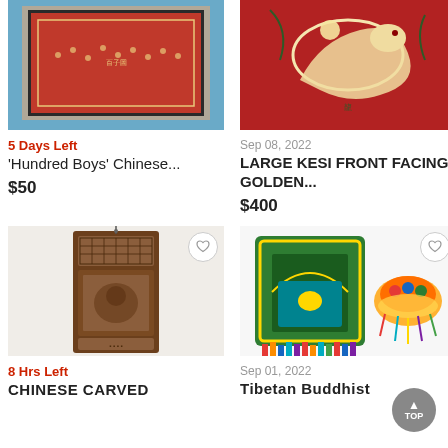[Figure (photo): Chinese 'Hundred Boys' embroidery artwork in blue frame on red background, cropped at top]
[Figure (photo): Large Kesi front facing golden dragon textile on red background, cropped at top]
5 Days Left
'Hundred Boys' Chinese...
$50
Sep 08, 2022
LARGE KESI FRONT FACING GOLDEN...
$400
[Figure (photo): Chinese carved wooden panel/door with decorative relief work, heart/favorite button visible]
[Figure (photo): Tibetan Buddhist decorative item - green embroidered case with colorful tassels, heart/favorite button visible]
8 Hrs Left
CHINESE CARVED
Sep 01, 2022
Tibetan Buddhist